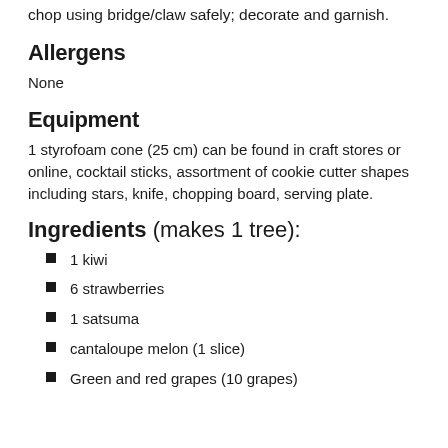chop using bridge/claw safely; decorate and garnish.
Allergens
None
Equipment
1 styrofoam cone (25 cm) can be found in craft stores or online, cocktail sticks, assortment of cookie cutter shapes including stars, knife, chopping board, serving plate.
Ingredients (makes 1 tree):
1 kiwi
6 strawberries
1 satsuma
cantaloupe melon (1 slice)
Green and red grapes (10 grapes)